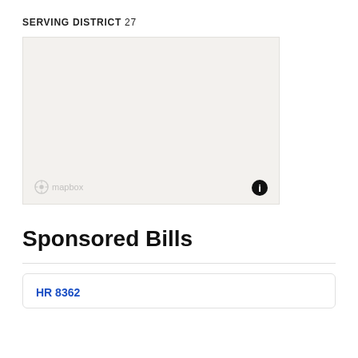SERVING DISTRICT 27
[Figure (map): Mapbox map showing District 27 boundary area, light beige/gray background with no visible roads or labels. Mapbox logo in bottom left, info button in bottom right.]
Sponsored Bills
HR 8362